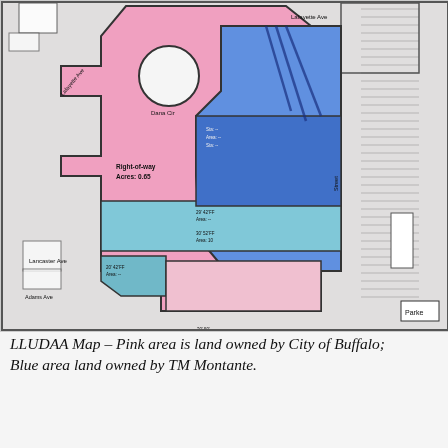[Figure (map): LLUDAA Map showing parcels of land near Lafayette Ave and Lancaster Ave in Buffalo. Pink area represents land owned by City of Buffalo; Blue area represents land owned by TM Montante. The map shows street labels including Lafayette Ave, Lancaster Ave, Adams Ave, and a circle labeled 'Dana Cir'. There is a right-of-way area labeled 'Right-of-way Acres: 0.65'. The right side of the map shows hatched areas. A small box in the bottom-right reads 'Parke'.]
LLUDAA Map – Pink area is land owned by City of Buffalo; Blue area land owned by TM Montante.